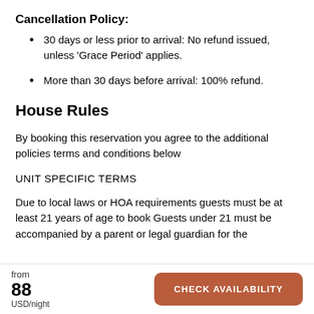Cancellation Policy:
30 days or less prior to arrival: No refund issued, unless 'Grace Period' applies.
More than 30 days before arrival: 100% refund.
House Rules
By booking this reservation you agree to the additional policies terms and conditions below
UNIT SPECIFIC TERMS
Due to local laws or HOA requirements guests must be at least 21 years of age to book Guests under 21 must be accompanied by a parent or legal guardian for the
from 88 USD/night  CHECK AVAILABILITY